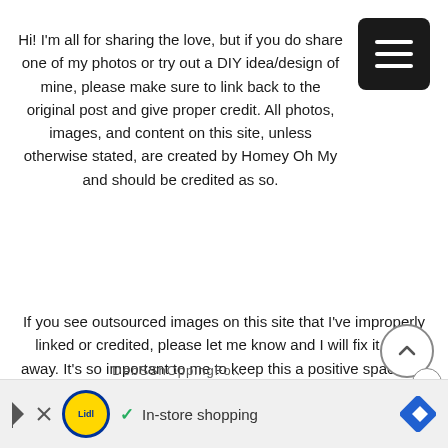[Figure (other): Black square button with three horizontal white lines (hamburger/menu icon), top-right corner]
Hi! I'm all for sharing the love, but if you do share one of my photos or try out a DIY idea/design of mine, please make sure to link back to the original post and give proper credit. All photos, images, and content on this site, unless otherwise stated, are created by Homey Oh My and should be credited as so.
If you see outsourced images on this site that I've improperly linked or credited, please let me know and I will fix it right away. It's so important to me to keep this a positive space, so thank you for helping me achieve that.
[Figure (other): Scroll-to-top circular button with upward chevron arrow, bottom-right area]
In-store shopping  (Lidl advertisement banner)